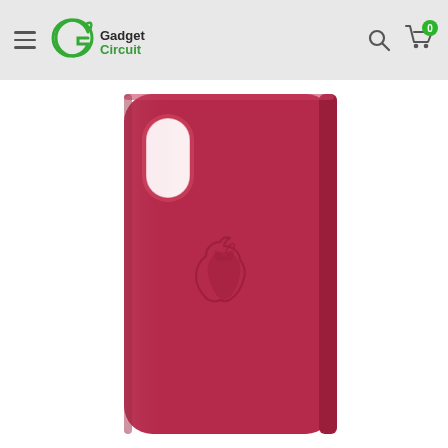GadgetCircuit
[Figure (photo): Red/berry colored Apple leather folio case for iPhone X, showing the back of the case with the Apple logo embossed in the center and a camera cutout in the upper left. The case has a folio-style cover folded back.]